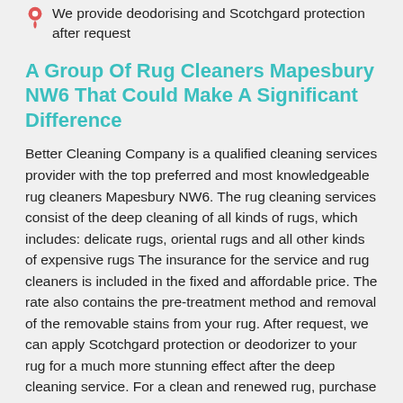We provide deodorising and Scotchgard protection after request
A Group Of Rug Cleaners Mapesbury NW6 That Could Make A Significant Difference
Better Cleaning Company is a qualified cleaning services provider with the top preferred and most knowledgeable rug cleaners Mapesbury NW6. The rug cleaning services consist of the deep cleaning of all kinds of rugs, which includes: delicate rugs, oriental rugs and all other kinds of expensive rugs The insurance for the service and rug cleaners is included in the fixed and affordable price. The rate also contains the pre-treatment method and removal of the removable stains from your rug. After request, we can apply Scotchgard protection or deodorizer to your rug for a much more stunning effect after the deep cleaning service. For a clean and renewed rug, purchase our expert deep rug treatment service today!
Flawless Rug Care